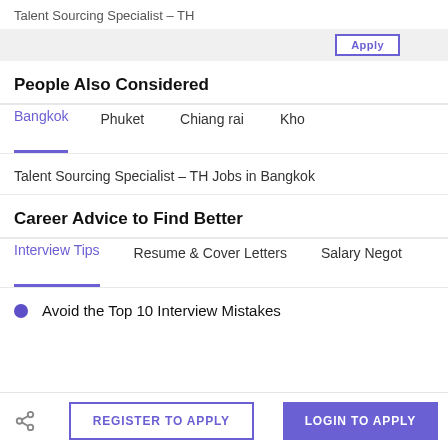Talent Sourcing Specialist – TH
People Also Considered
Bangkok  Phuket  Chiang rai  Kho
Talent Sourcing Specialist – TH Jobs in Bangkok
Career Advice to Find Better
Interview Tips  Resume & Cover Letters  Salary Negot
Avoid the Top 10 Interview Mistakes